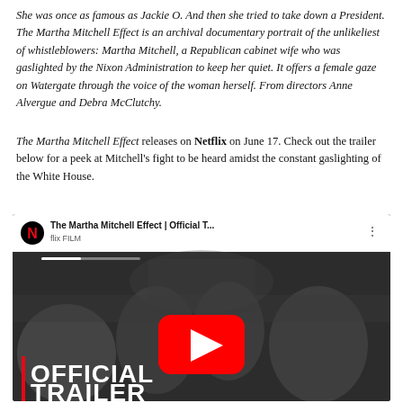She was once as famous as Jackie O. And then she tried to take down a President. The Martha Mitchell Effect is an archival documentary portrait of the unlikeliest of whistleblowers: Martha Mitchell, a Republican cabinet wife who was gaslighted by the Nixon Administration to keep her quiet. It offers a female gaze on Watergate through the voice of the woman herself. From directors Anne Alvergue and Debra McClutchy.
The Martha Mitchell Effect releases on Netflix on June 17. Check out the trailer below for a peek at Mitchell's fight to be heard amidst the constant gaslighting of the White House.
[Figure (screenshot): YouTube video embed showing The Martha Mitchell Effect Official Trailer on Netflix. The video thumbnail shows a black and white photo of people at a formal dinner table. A large red YouTube play button is centered on the image. At the bottom left is text reading 'OFFICIAL TRAILER' with a red vertical bar. The top bar shows the Netflix logo and video title 'The Martha Mitchell Effect | Official T... flix FILM'.]